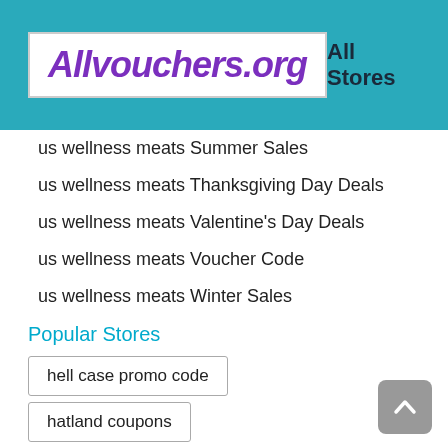Allvouchers.org  All Stores
us wellness meats Summer Sales
us wellness meats Thanksgiving Day Deals
us wellness meats Valentine's Day Deals
us wellness meats Voucher Code
us wellness meats Winter Sales
Popular Stores
hell case promo code
hatland coupons
printful discount code
house of lancry coupons
landbigfish coupons